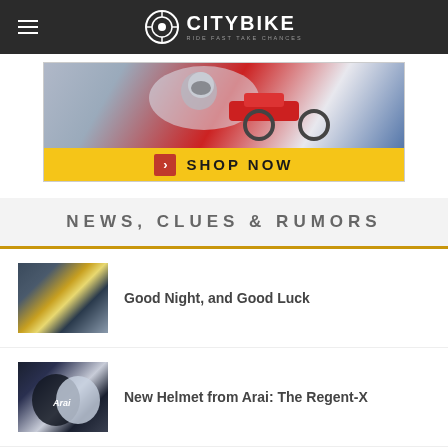CITYBIKE — RIDE FAST TAKE CHANCES
[Figure (photo): Motorcycle advertisement banner with a rider in full gear on a red bike and a yellow SHOP NOW call-to-action bar]
NEWS, CLUES & RUMORS
[Figure (photo): Close-up photo of motorcycle gloves and riding gear in blue and yellow]
Good Night, and Good Luck
[Figure (photo): Close-up photo of two Arai helmets in black and white/blue colorways]
New Helmet from Arai: The Regent-X
[Figure (photo): Dark motorcycle gear or accessory photo, partially visible at bottom]